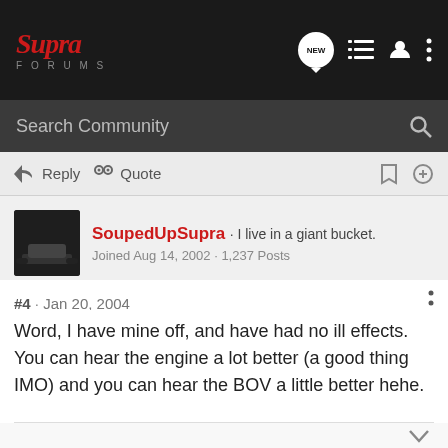Supra Forums
Search Community
Reply  Quote
SoupedUpSupra · I live in a giant bucket. Joined Aug 14, 2002 · 1,237 Posts
#4 · Jan 20, 2004
Word, I have mine off, and have had no ill effects. You can hear the engine a lot better (a good thing IMO) and you can hear the BOV a little better hehe.
Reply  Quote